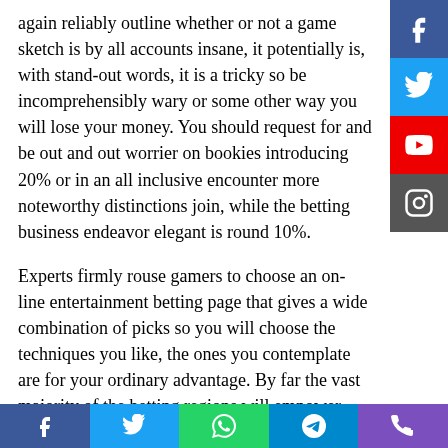again reliably outline whether or not a game sketch is by all accounts insane, it potentially is, with stand-out words, it is a tricky so be incomprehensibly wary or some other way you will lose your money. You should request for and be out and out worrier on bookies introducing 20% or in an all inclusive encounter more noteworthy distinctions join, while the betting business endeavor elegant is round 10%.
Experts firmly rouse gamers to choose an on-line entertainment betting page that gives a wide combination of picks so you will choose the techniques you like, the ones you contemplate are for your ordinary advantage. By far the vast majority of the betting regions will empower you to look at the game possibilities that are battling bets on. It unimaginably relies on the mix you will bet on;